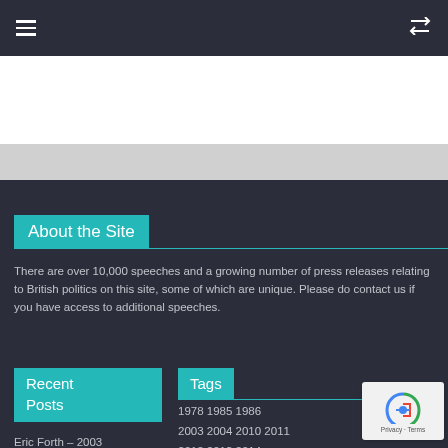≡  [shuffle icon]
About the Site
There are over 10,000 speeches and a growing number of press releases relating to British politics on this site, some of which are unique. Please do contact us if you have access to additional speeches.
Recent Posts
Tags
1978 1985 1986
2003 2004 2010 2011
2012 2013 2014
Eric Forth – 2003